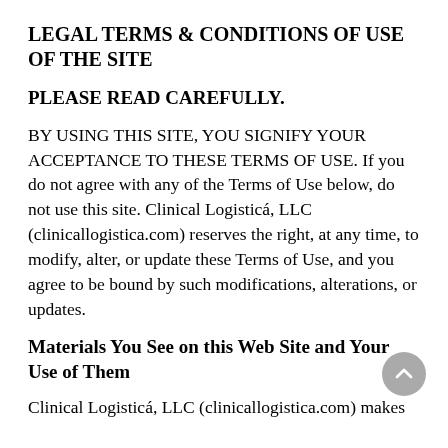LEGAL TERMS & CONDITIONS OF USE OF THE SITE
PLEASE READ CAREFULLY.
BY USING THIS SITE, YOU SIGNIFY YOUR ACCEPTANCE TO THESE TERMS OF USE. If you do not agree with any of the Terms of Use below, do not use this site. Clinical Logisticá, LLC (clinicallogistica.com) reserves the right, at any time, to modify, alter, or update these Terms of Use, and you agree to be bound by such modifications, alterations, or updates.
Materials You See on this Web Site and Your Use of Them
Clinical Logisticá, LLC (clinicallogistica.com) makes